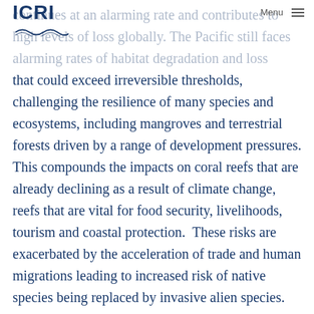ICRI | Menu
continues at an alarming rate and contributes to high levels of loss globally. The Pacific still faces alarming rates of habitat degradation and loss that could exceed irreversible thresholds, challenging the resilience of many species and ecosystems, including mangroves and terrestrial forests driven by a range of development pressures. This compounds the impacts on coral reefs that are already declining as a result of climate change, reefs that are vital for food security, livelihoods, tourism and coastal protection. These risks are exacerbated by the acceleration of trade and human migrations leading to increased risk of native species being replaced by invasive alien species. The